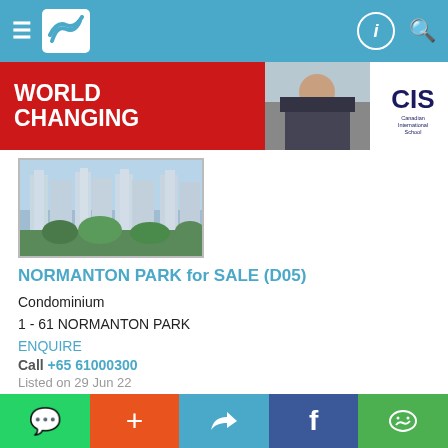Navigation bar with hamburger menu, logo, profile icon, and search icon
[Figure (photo): CIS Canadian International School advertisement banner with 'WORLD CHANGING' text]
[Figure (photo): Aerial view of Normanton Park condominium development showing high-rise towers and greenery]
NORMANTON PARK for SALE (D05)
Condominium
1 - 61 NORMANTON PARK
ENQUIRE
Call +65 61000300
Listed on 29 Jun 22
Property Code: 6387290
S$ 1,890,000
(Negotiable)
S$ 1,738.73 psf (built-in)
1,087 sqft / 100.99 sqm (built-in)
WhatsApp | + | Twitter | Facebook | WeChat